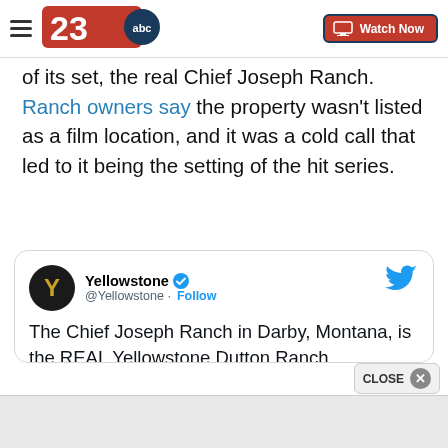[Figure (logo): 23ABC news station logo with red 23 and ABC circle, hamburger menu icon, and Watch Now button in top navigation bar]
of its set, the real Chief Joseph Ranch. Ranch owners say the property wasn't listed as a film location, and it was a cold call that led to it being the setting of the hit series.
[Figure (screenshot): Embedded tweet from @Yellowstone with verified checkmark and Follow button. Tweet reads: The Chief Joseph Ranch in Darby, Montana, is the REAL Yellowstone Dutton Ranch. #YellowstoneTV. Twitter bird icon top right. Bottom shows cropped image strip.]
[Figure (other): CLOSE button with X circle overlay at bottom right, ad bar at bottom]